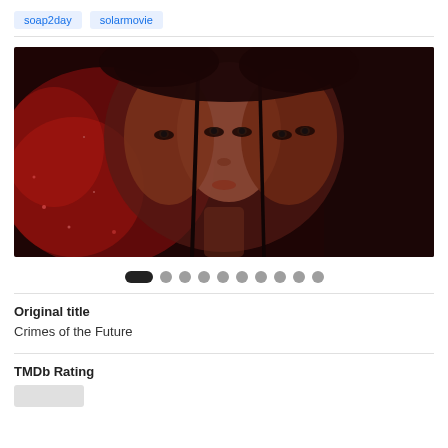soap2day
solarmovie
[Figure (photo): Movie poster for 'Crimes of the Future' showing three stylized female faces with a cracked/fractured effect against a dark red background]
Original title
Crimes of the Future
TMDb Rating